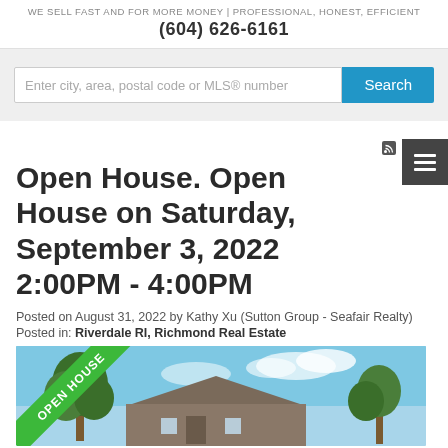WE SELL FAST AND FOR MORE MONEY | PROFESSIONAL, HONEST, EFFICIENT
(604) 626-6161
[Figure (screenshot): Search bar with input field 'Enter city, area, postal code or MLS® number' and a blue Search button]
RSS
Open House. Open House on Saturday, September 3, 2022 2:00PM - 4:00PM
Posted on August 31, 2022 by Kathy Xu (Sutton Group - Seafair Realty)
Posted in: Riverdale RI, Richmond Real Estate
[Figure (photo): Property photo showing a house with a green 'OPEN HOUSE' ribbon/banner in the top left corner, trees on either side, and a blue sky background]